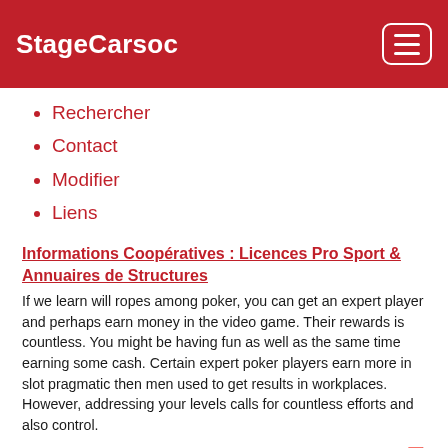StageCarsoc
Rechercher
Contact
Modifier
Liens
Informations Coopératives : Licences Pro Sport & Annuaires de Structures
If we learn will ropes among poker, you can get an expert player and perhaps earn money in the video game. Their rewards is countless. You might be having fun as well as the same time earning some cash. Certain expert poker players earn more in slot pragmatic then men used to get results in workplaces. However, addressing your levels calls for countless efforts and also control.
Make yourself comfy by getting items that will likely last best. 🟥🟥🟥🟥🟥 You could have good quality sounds playing in history or the favourite take in. Such things might uplift you plus keep you inside effective moods.
As they develop experience, they get to collect tips on how to shorten...